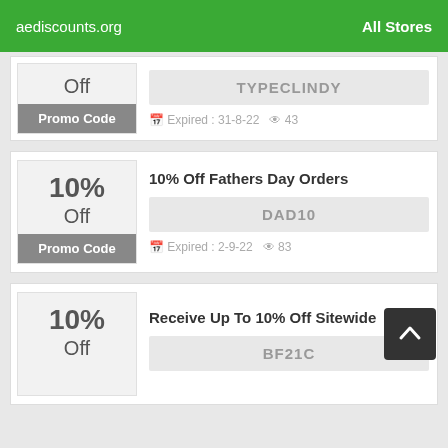aediscounts.org   All Stores
Off
Promo Code
TYPECLINDY
Expired: 31-8-22   43
10% Off Fathers Day Orders
10%
Off
Promo Code
DAD10
Expired: 2-9-22   83
Receive Up To 10% Off Sitewide
10%
Off
BF21C